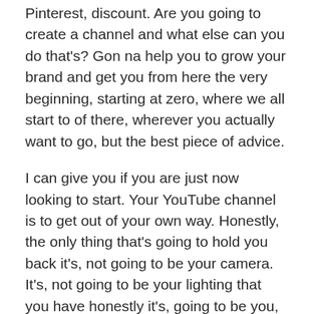Pinterest, discount. Are you going to create a channel and what else can you do that's? Gon na help you to grow your brand and get you from here the very beginning, starting at zero, where we all start to of there, wherever you actually want to go, but the best piece of advice.
I can give you if you are just now looking to start. Your YouTube channel is to get out of your own way. Honestly, the only thing that's going to hold you back it's, not going to be your camera. It's, not going to be your lighting that you have honestly it's, going to be you, it's, going to be self-doubt, and you thinking that you are not good enough, that your channel can '
T be what you honestly dream it can be, but you sticking with it you, following that uploading schedule that you set for yourself that's, going to take you so much farther than a lot of other creators.